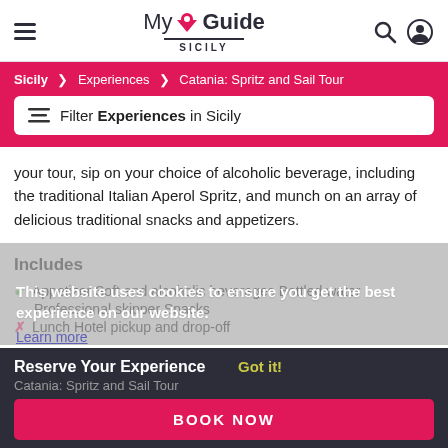MyGuide SICILY
Sicily > Experiences > Catania: Spritz and Sail Tour
Filter Experiences in Sicily
your tour, sip on your choice of alcoholic beverage, including the traditional Italian Aperol Spritz, and munch on an array of delicious traditional snacks and appetizers.
Includes
This website uses cookies to ensure you get the best experience on our website.
Learn more
✔ Appetizer Soft and alcoholic beverages Bottled water
Professional skipper Snacks
✘ Lunch Hotel pickup and drop-off
Reserve Your Experience
Got it!
Catania: Spritz and Sail Tour
BOOK NOW